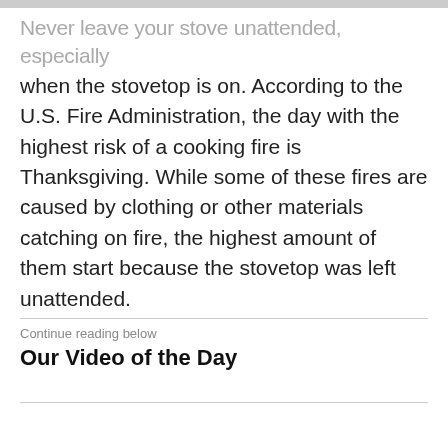Never leave your stove unattended, especially when the stovetop is on. According to the U.S. Fire Administration, the day with the highest risk of a cooking fire is Thanksgiving. While some of these fires are caused by clothing or other materials catching on fire, the highest amount of them start because the stovetop was left unattended.
Continue reading below
Our Video of the Day